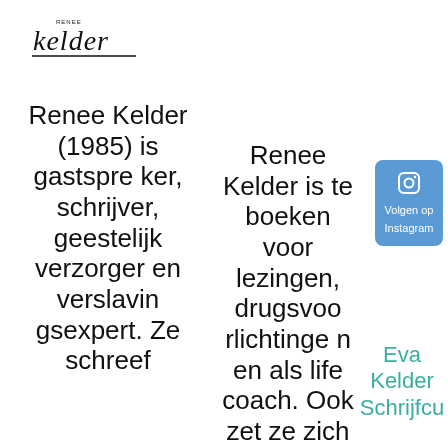[Figure (logo): Handwritten signature logo reading 'Renee kelder' with underline]
Renee Kelder (1985) is gastspreker, schrijver, geestelijk verzorger en verslavingsexpert. Ze schreef
Renee Kelder is te boeken voor lezingen, drugsvoorlichtingen en als life coach. Ook zet ze zich in
[Figure (other): Blue rounded button with Instagram icon and text 'Volgen op Instagram']
Eva Kelder Schrijfcu